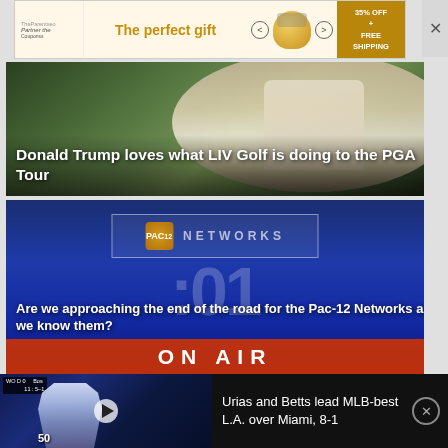[Figure (screenshot): Advertisement banner: 'The perfect gift' with popcorn bowl image, 35% OFF + FREE SHIPPING offer, and close button]
[Figure (photo): Man in white shirt on golf course, overlaid with headline text]
Donald Trump loves what LIV Golf is doing to the PGA Tour
[Figure (screenshot): Pac-12 Networks studio countdown clock showing :01 and ON AIR banner]
Are we approaching the end of the road for the Pac-12 Networks as we know them?
[Figure (screenshot): Video thumbnail showing baseball player wearing #50 Dodgers jersey]
Urias and Betts lead MLB-best L.A. over Miami, 8-1